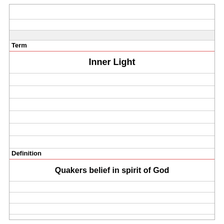|  |
|  |
|  |
| Term |
| Inner Light |
|  |
|  |
|  |
|  |
|  |
|  |
| Definition |
| Quakers belief in spirit of God |
|  |
|  |
|  |
|  |